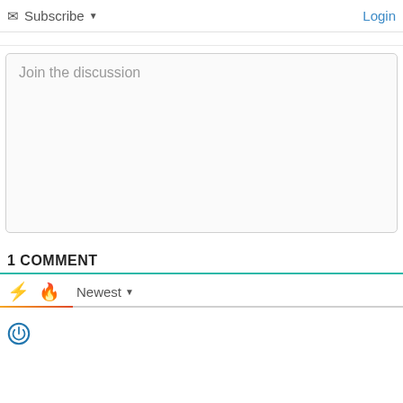Subscribe ▼
Login
Join the discussion
1 COMMENT
Newest ▼
[Figure (illustration): Power button icon — blue circle outline with power symbol inside]